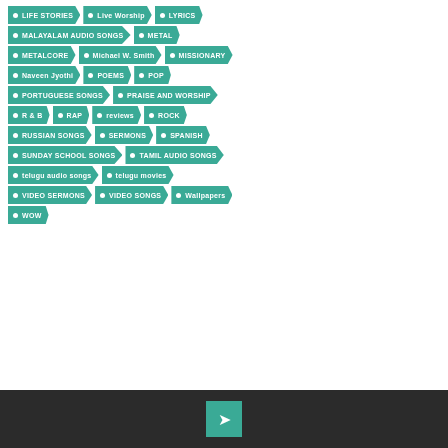LIFE STORIES
Live Worship
LYRICS
MALAYALAM AUDIO SONGS
METAL
METALCORE
Michael W. Smith
MISSIONARY
Naveen Jyothi
POEMS
POP
PORTUGUESE SONGS
PRAISE AND WORSHIP
R & B
RAP
reviews
ROCK
RUSSIAN SONGS
SERMONS
SPANISH
SUNDAY SCHOOL SONGS
TAMIL AUDIO SONGS
telugu audio songs
telugu movies
VIDEO SERMONS
VIDEO SONGS
Wallpapers
WOW